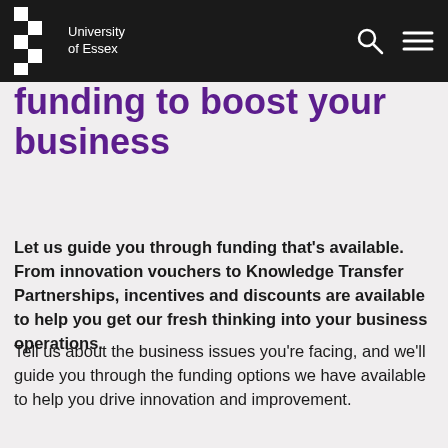University of Essex
funding to boost your business
Let us guide you through funding that's available. From innovation vouchers to Knowledge Transfer Partnerships, incentives and discounts are available to help you get our fresh thinking into your business operations.
Tell us about the business issues you're facing, and we'll guide you through the funding options we have available to help you drive innovation and improvement.